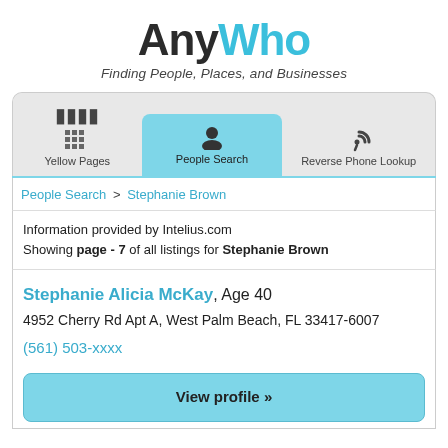AnyWho
Finding People, Places, and Businesses
[Figure (screenshot): Navigation tab bar with three tabs: Yellow Pages (building icon), People Search (person icon, active/highlighted), Reverse Phone Lookup (phone icon)]
People Search > Stephanie Brown
Information provided by Intelius.com
Showing page - 7 of all listings for Stephanie Brown
Stephanie Alicia McKay, Age 40
4952 Cherry Rd Apt A, West Palm Beach, FL 33417-6007
(561) 503-xxxx
View profile »